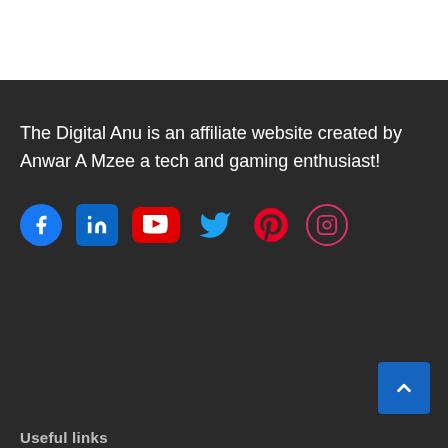[Figure (illustration): White top section of a website page]
The Digital Anu is an affiliate website created by Anwar A Mzee a tech and gaming enthusiast!
[Figure (infographic): Row of social media icons: Facebook (blue circle), LinkedIn (blue square), YouTube (red rectangle), Twitter (blue bird), Pinterest (red/pink P), Instagram (pink outlined circle)]
[Figure (other): Blue scroll-to-top button with upward chevron arrow in bottom right corner]
Useful links